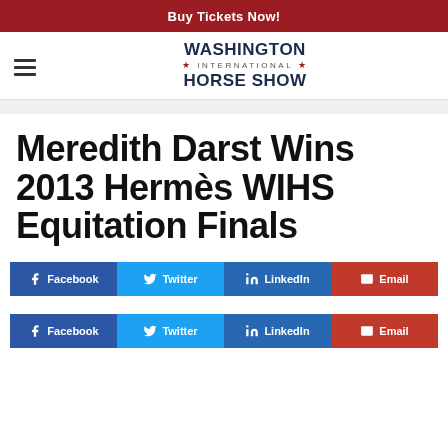Buy Tickets Now!
[Figure (logo): Washington International Horse Show logo with hamburger menu icon]
Meredith Darst Wins 2013 Hermès WIHS Equitation Finals
[Figure (infographic): Social share buttons row 1: Facebook, Twitter, LinkedIn, Email]
[Figure (infographic): Social share buttons row 2: Facebook, Twitter, LinkedIn, Email]